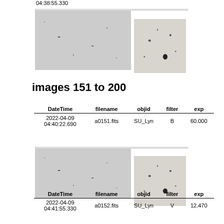04:38:55.330
[Figure (photo): Two astronomical images side by side: wide field star field image on left, zoomed image with central star on right]
images 151 to 200
| DateTime | filename | objid | filter | exp |
| --- | --- | --- | --- | --- |
| 2022-04-09
04:40:22.690 | a0151.fits | SU_Lyn | B | 60.000 |
[Figure (photo): Two astronomical images side by side: wide field star field image on left, zoomed image with central star on right]
| DateTime | filename | objid | filter | exp |
| --- | --- | --- | --- | --- |
| 2022-04-09
04:41:55.330 | a0152.fits | SU_Lyn | V | 12.470 |